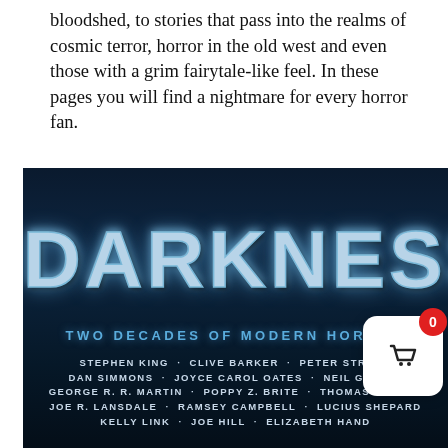bloodshed, to stories that pass into the realms of cosmic terror, horror in the old west and even those with a grim fairytale-like feel. In these pages you will find a nightmare for every horror fan.
[Figure (illustration): Book cover for 'Darkness: Two Decades of Modern Horror' showing large bold metallic blue text 'DARKNESS' with subtitle 'TWO DECADES OF MODERN HORROR' and author names including Stephen King, Clive Barker, Peter Straub, Dan Simmons, Joyce Carol Oates, Neil Gaiman, George R. R. Martin, Poppy Z. Brite, Thomas Ligotti, Joe R. Lansdale, Ramsey Campbell, Lucius Shepard, Kelly Link, Joe Hill, Elizabeth Hand, on a dark navy blue gradient background]